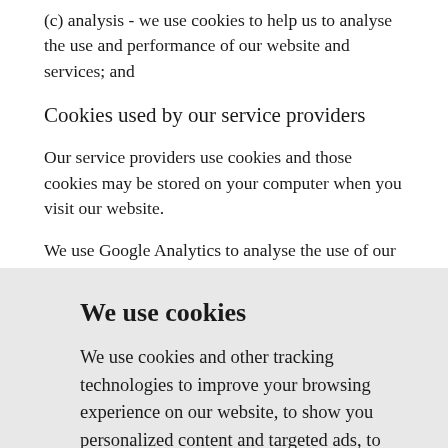(c) analysis - we use cookies to help us to analyse the use and performance of our website and services; and
Cookies used by our service providers
Our service providers use cookies and those cookies may be stored on your computer when you visit our website.
We use Google Analytics to analyse the use of our website. Google Analytics gathers information about website use by means of cookies. The information gathered relating to our website is used to create reports about the use of our website. Google's privacy policy is available at:
We use cookies
We use cookies and other tracking technologies to improve your browsing experience on our website, to show you personalized content and targeted ads, to analyze our website traffic, and